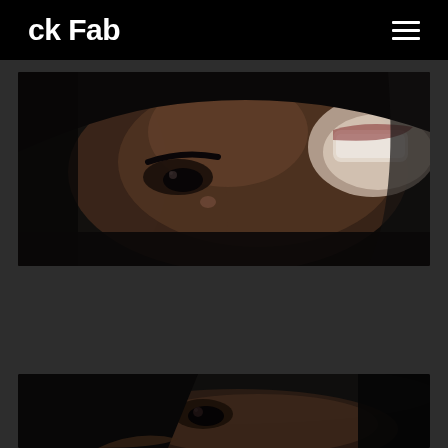ck Fab
[Figure (photo): Close-up portrait photo of a woman with dark hair, dark eye makeup, and a bright smile showing teeth, photographed at an angle in low-key lighting]
[Figure (photo): Close-up portrait photo of a woman with dark hair and dark eye makeup, partially obscured, dark moody lighting]